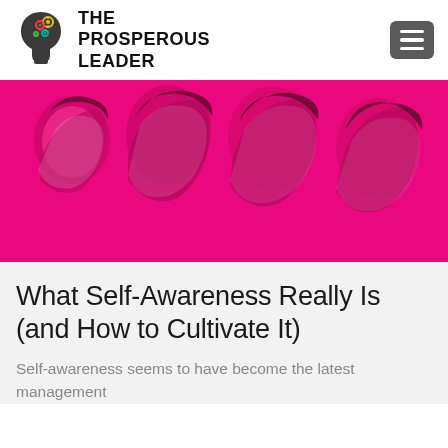[Figure (logo): The Prosperous Leader logo: a dark silhouette of a human head profile filled with colorful gears/cogs in green, red, yellow, teal]
THE PROSPEROUS LEADER
[Figure (photo): Duotone pink/magenta image of four people's faces arranged side by side, looking downward or forward in close profile]
What Self-Awareness Really Is (and How to Cultivate It)
Self-awareness seems to have become the latest management